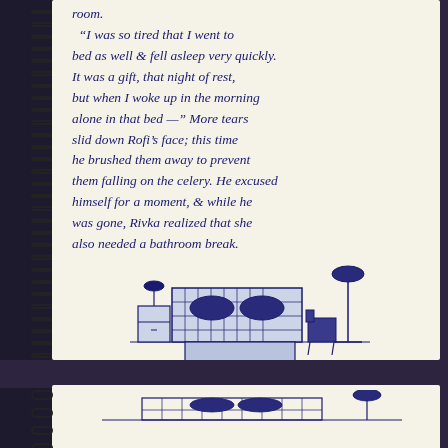room.
"I was so tired that I went to bed as well & fell asleep very quickly. It was a gift, that night of rest, but when I woke up in the morning alone in that bed —" More tears slid down Rofi's face; this time he brushed them away to prevent them falling on the celery. He excused himself for a moment, & while he was gone, Rivka realized that she also needed a bathroom break.
[Figure (illustration): Hand-drawn ink and watercolor illustration of a bed with two pillows, a nightstand with a lamp on the left, and a floor lamp with a chair on the right. The bed has a dark metal headboard and a light purple/blue bedspread.]
[Figure (illustration): Partial view of another notebook page below, showing the top of what appears to be another hand-drawn illustration.]